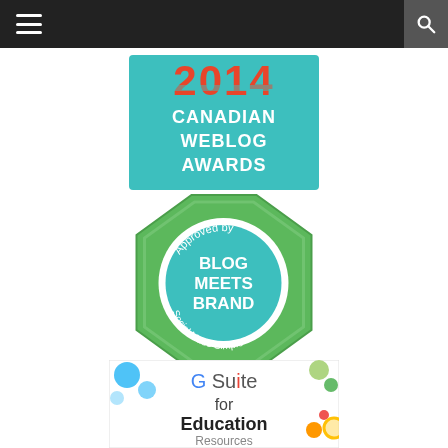Navigation header with hamburger menu and search icon
[Figure (logo): 2014 Canadian Weblog Awards badge — teal background with red '2014' text and white 'CANADIAN WEBLOG AWARDS' text]
[Figure (logo): Blog Meets Brand badge — green octagonal border with teal circle center, text 'Approved by', 'BLOG MEETS BRAND', 'Social Made Simple']
[Figure (logo): G Suite for Education Resources promotional image — colorful circles on white background with Google G Suite branding]